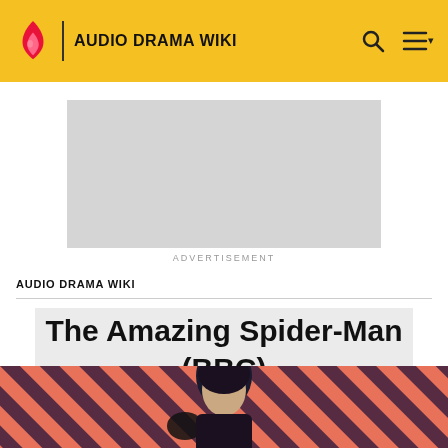AUDIO DRAMA WIKI
[Figure (other): Grey advertisement placeholder block]
ADVERTISEMENT
AUDIO DRAMA WIKI
The Amazing Spider-Man (BBC)
[Figure (photo): Bottom portion showing a dark-haired person against a coral/pink diagonal striped background]